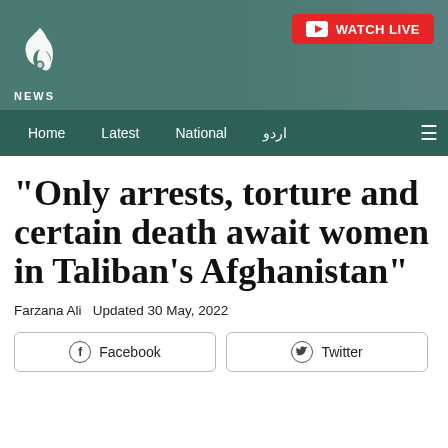Aaj News — WATCH LIVE
Home  Latest  National  اردو
"Only arrests, torture and certain death await women in Taliban's Afghanistan"
Farzana Ali Updated 30 May, 2022
Facebook  Twitter